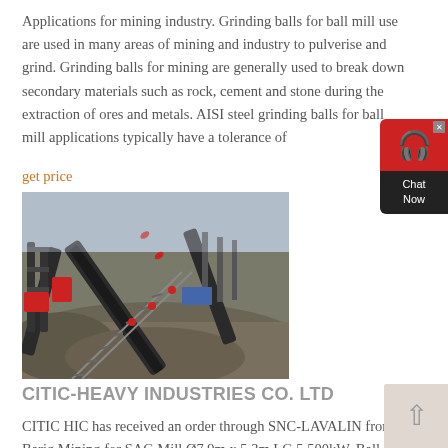Applications for mining industry. Grinding balls for ball mill use are used in many areas of mining and industry to pulverise and grind. Grinding balls for mining are generally used to break down secondary materials such as rock, cement and stone during the extraction of ores and metals. AISI steel grinding balls for ball mill applications typically have a tolerance of
get price
[Figure (photo): Outdoor mining facility showing conveyor belts transporting crushed rock/ore material, with industrial machinery in the background]
CITIC-HEAVY INDUSTRIES CO. LTD
CITIC HIC has received an order through SNC-LAVALIN from Barig Mining for SAG Mill Ø7.9m x 5.3m LG 5,500kW, Ball Mill